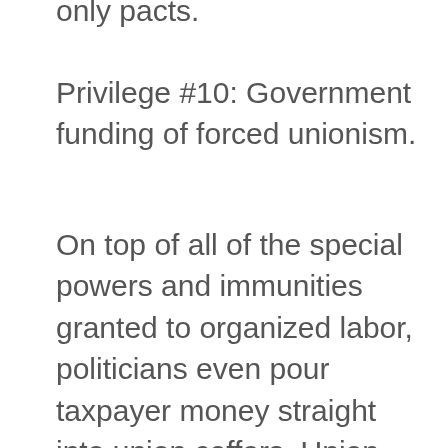only pacts.
Privilege #10: Government funding of forced unionism.
On top of all of the special powers and immunities granted to organized labor, politicians even pour taxpayer money straight into union coffers. Union groups receive upwards of $160 million annually in direct federal grants. But that's just the tip of the iceberg. In 2001, the federal Department of Labor doled out $148 million for “international labor programs” overwhelmingly